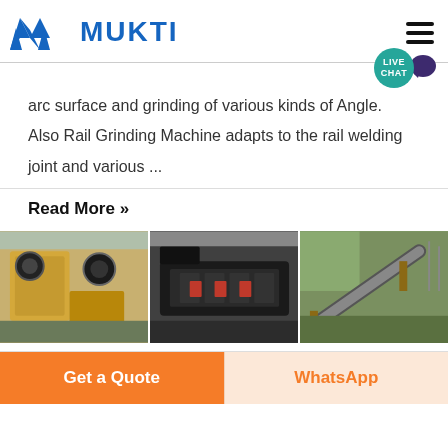MUKTI
arc surface and grinding of various kinds of Angle. Also Rail Grinding Machine adapts to the rail welding joint and various ...
Read More »
[Figure (photo): Three industrial crushing and grinding machines shown side by side: a yellow jaw crusher, a black hammer/impact crusher, and a conveyor belt system at a mining site.]
Get a Quote
WhatsApp